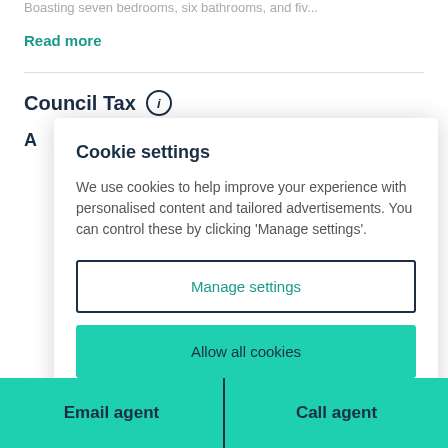Boasting seven bedrooms, six bathrooms, and fiv...
Read more
Council Tax
Cookie settings
We use cookies to help improve your experience with personalised content and tailored advertisements. You can control these by clicking 'Manage settings'.
Manage settings
Allow all cookies
Email agent
Call agent